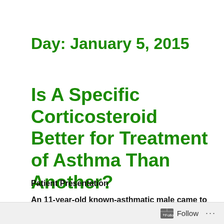Day: January 5, 2015
Is A Specific Corticosteroid Better for Treatment of Asthma Than Another?
Patient Presentation
An 11-year-old known-asthmatic male came to clinic
Follow